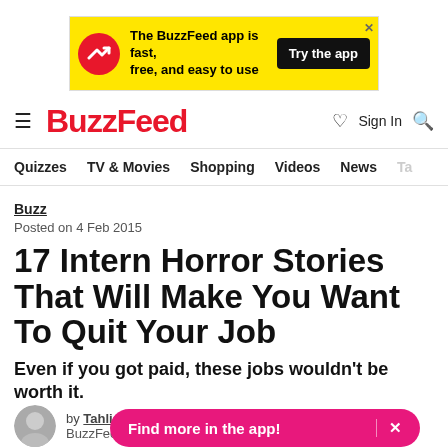[Figure (screenshot): BuzzFeed app advertisement banner with yellow background, red circular logo with arrow, text 'The BuzzFeed app is fast, free, and easy to use', and 'Try the app' black button]
BuzzFeed — Quizzes TV & Movies Shopping Videos News
Buzz
Posted on 4 Feb 2015
17 Intern Horror Stories That Will Make You Want To Quit Your Job
Even if you got paid, these jobs wouldn't be worth it.
by Tahlia BuzzFeed
[Figure (infographic): Pink pill-shaped 'Find more in the app!' call-to-action button with X close button]